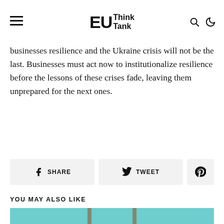EU Think Tank
businesses resilience and the Ukraine crisis will not be the last. Businesses must act now to institutionalize resilience before the lessons of these crises fade, leaving them unprepared for the next ones.
[Figure (other): Social share buttons: SHARE (Facebook), TWEET (Twitter), Pinterest icon]
YOU MAY ALSO LIKE
[Figure (illustration): Article thumbnail image with teal/turquoise background showing a leopard or cheetah figure under a wooden chair]